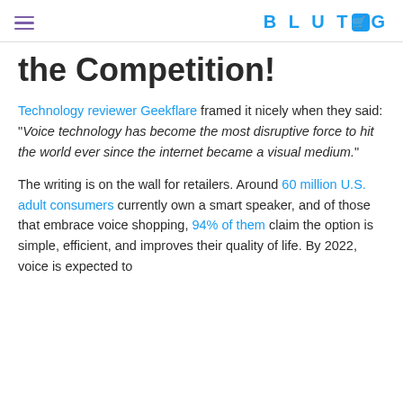BLUTAG
the Competition!
Technology reviewer Geekflare framed it nicely when they said: "Voice technology has become the most disruptive force to hit the world ever since the internet became a visual medium."
The writing is on the wall for retailers. Around 60 million U.S. adult consumers currently own a smart speaker, and of those that embrace voice shopping, 94% of them claim the option is simple, efficient, and improves their quality of life. By 2022, voice is expected to